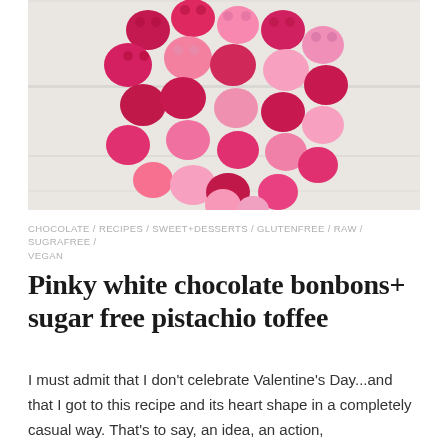[Figure (photo): Overhead photo of pink and magenta heart-shaped candy/bonbon pieces arranged in a heart shape on a white wooden surface]
CHOCOLATE / RECIPES / SWEET+DESSERTS / GLUTENFREE / RAW / SUGRAFREE / VEGAN
Pinky white chocolate bonbons+ sugar free pistachio toffee
I must admit that I don't celebrate Valentine's Day...and that I got to this recipe and its heart shape in a completely casual way. That's to say, an idea, an action,